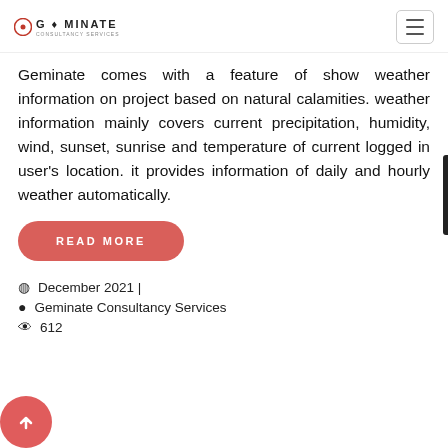GEMINATE
Geminate comes with a feature of show weather information on project based on natural calamities. weather information mainly covers current precipitation, humidity, wind, sunset, sunrise and temperature of current logged in user's location. it provides information of daily and hourly weather automatically.
READ MORE
December 2021 |
Geminate Consultancy Services
612